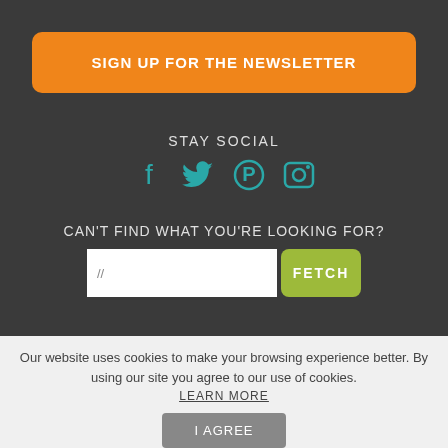SIGN UP FOR THE NEWSLETTER
STAY SOCIAL
[Figure (illustration): Social media icons: Facebook, Twitter, Pinterest, Instagram in teal color]
CAN'T FIND WHAT YOU'RE LOOKING FOR?
// [search input] FETCH
Our website uses cookies to make your browsing experience better. By using our site you agree to our use of cookies.
LEARN MORE
I AGREE